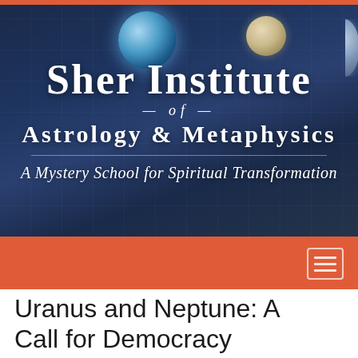[Figure (illustration): Sher Institute of Astrology & Metaphysics banner image with space/planetary background in deep blue, showing planets, astrological chart grid lines, and white serif text reading 'Sher Institute of Astrology & Metaphysics — A Mystery School for Spiritual Transformation'. Below the banner is an orange navigation bar with a hamburger menu icon.]
Uranus and Neptune: A Call for Democracy